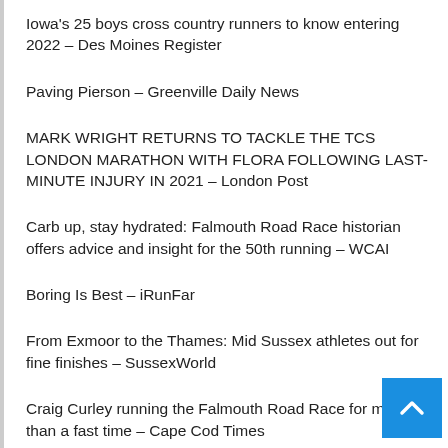Iowa's 25 boys cross country runners to know entering 2022 – Des Moines Register
Paving Pierson – Greenville Daily News
MARK WRIGHT RETURNS TO TACKLE THE TCS LONDON MARATHON WITH FLORA FOLLOWING LAST-MINUTE INJURY IN 2021 – London Post
Carb up, stay hydrated: Falmouth Road Race historian offers advice and insight for the 50th running – WCAI
Boring Is Best – iRunFar
From Exmoor to the Thames: Mid Sussex athletes out for fine finishes – SussexWorld
Craig Curley running the Falmouth Road Race for more than a fast time – Cape Cod Times